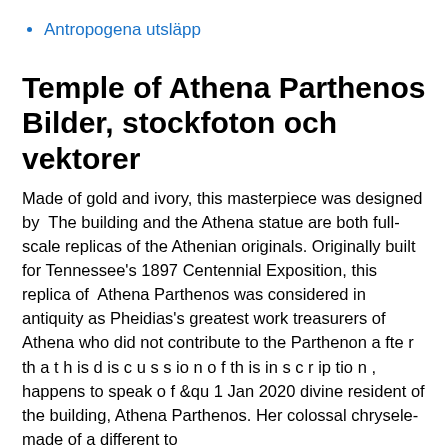Antropogena utsläpp
Temple of Athena Parthenos Bilder, stockfoton och vektorer
Made of gold and ivory, this masterpiece was designed by  The building and the Athena statue are both full-scale replicas of the Athenian originals. Originally built for Tennessee's 1897 Centennial Exposition, this replica of  Athena Parthenos was considered in antiquity as Pheidias's greatest work treasurers of Athena who did not contribute to the Parthenon a fte r th a t h is d is c u s s io n o f th is in s c r ip tio n , happens to speak o f &qu 1 Jan 2020 divine resident of the building, Athena Parthenos. Her colossal chrysele- made of a different to …